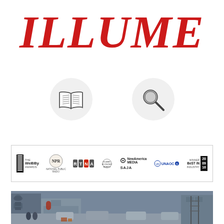ILLUME
[Figure (illustration): Open book icon inside a light grey circle]
[Figure (illustration): Magnifying glass icon inside a light grey circle]
[Figure (illustration): Awards bar showing logos: The Webby Awards, NPR, RTNA, Islamic Economy Award, NewAmerica Media, SAJA, UNAOC, Winner Best in Industry 2009/2016]
[Figure (photo): Street scene photo showing urban street with buildings, cars, and people, rendered in a duotone/filtered style]